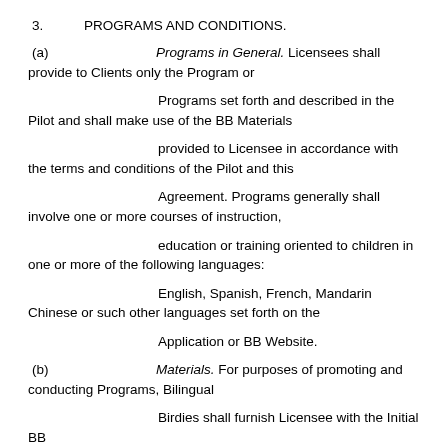3.   PROGRAMS AND CONDITIONS.
(a)   Programs in General. Licensees shall provide to Clients only the Program or
Programs set forth and described in the Pilot and shall make use of the BB Materials
provided to Licensee in accordance with the terms and conditions of the Pilot and this
Agreement. Programs generally shall involve one or more courses of instruction,
education or training oriented to children in one or more of the following languages:
English, Spanish, French, Mandarin Chinese or such other languages set forth on the
Application or BB Website.
(b)   Materials. For purposes of promoting and conducting Programs, Bilingual
Birdies shall furnish Licensee with the Initial BB